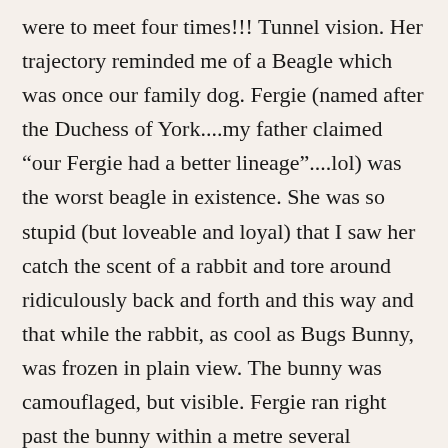were to meet four times!!! Tunnel vision. Her trajectory reminded me of a Beagle which was once our family dog. Fergie (named after the Duchess of York....my father claimed “our Fergie had a better lineage”....lol) was the worst beagle in existence. She was so stupid (but loveable and loyal) that I saw her catch the scent of a rabbit and tore around ridiculously back and forth and this way and that while the rabbit, as cool as Bugs Bunny, was frozen in plain view. The bunny was camouflaged, but visible. Fergie ran right past the bunny within a metre several times..lol. Soon Fergie gave up without her prey (Royals have little work ethic) and the rabbit lived to see another day.